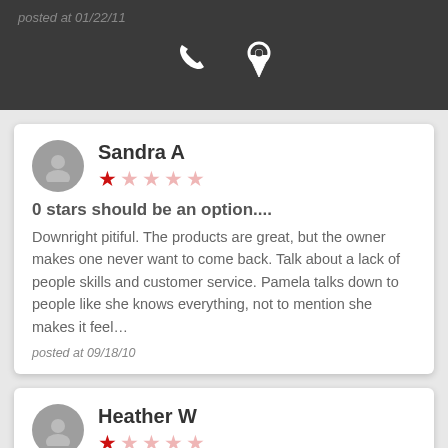posted at 01/22/11
Sandra A
★☆☆☆☆
0 stars should be an option....
Downright pitiful. The products are great, but the owner makes one never want to come back. Talk about a lack of people skills and customer service. Pamela talks down to people like she knows everything, not to mention she makes it feel...
posted at 09/18/10
Heather W
★☆☆☆☆
Unfriendly and flea-tastic!
I have been in to Launder Dog several times and I